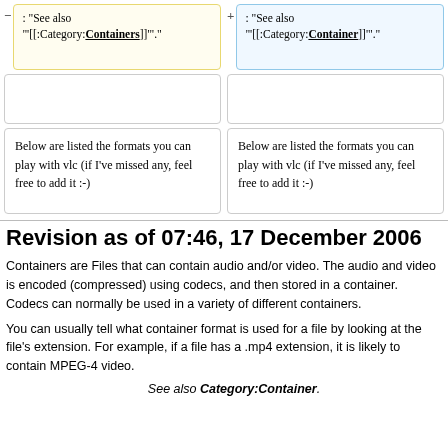: "See also
"'[[:Category:Containers]]'"."
: "See also
"'[[:Category:Container]]'"."
Below are listed the formats you can play with vlc (if I've missed any, feel free to add it :-)
Below are listed the formats you can play with vlc (if I've missed any, feel free to add it :-)
Revision as of 07:46, 17 December 2006
Containers are Files that can contain audio and/or video. The audio and video is encoded (compressed) using codecs, and then stored in a container. Codecs can normally be used in a variety of different containers.
You can usually tell what container format is used for a file by looking at the file's extension. For example, if a file has a .mp4 extension, it is likely to contain MPEG-4 video.
See also Category:Container.